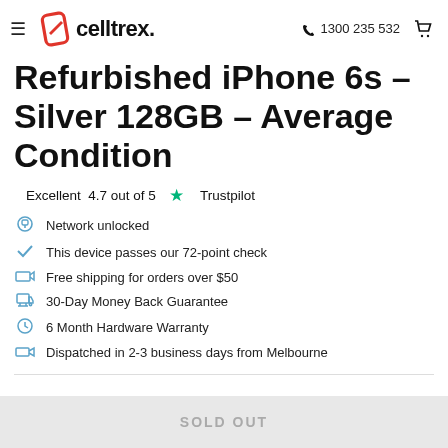celltrex. 1300 235 532
Refurbished iPhone 6s - Silver 128GB - Average Condition
Excellent 4.7 out of 5 ★ Trustpilot
Network unlocked
This device passes our 72-point check
Free shipping for orders over $50
30-Day Money Back Guarantee
6 Month Hardware Warranty
Dispatched in 2-3 business days from Melbourne
SOLD OUT